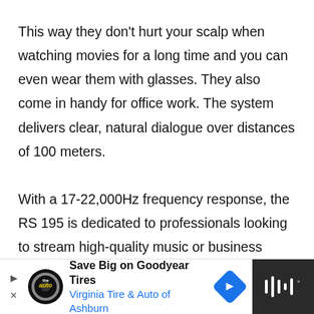This way they don't hurt your scalp when watching movies for a long time and you can even wear them with glasses. They also come in handy for office work. The system delivers clear, natural dialogue over distances of 100 meters.

With a 17-22,000Hz frequency response, the RS 195 is dedicated to professionals looking to stream high-quality music or business transactions without wires, or postures that end up hurting their backsides after hours of sitting on them while wearing these studio-grade Sennheiser's
[Figure (other): Advertisement banner at bottom: 'Save Big on Goodyear Tires - Virginia Tire & Auto of Ashburn' with tire logo, blue navigation arrow icon, and dark panel with wave/audio icon on right.]